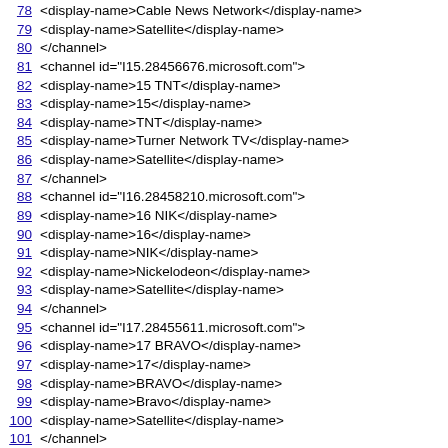78  <display-name>Cable News Network</display-name>
79  <display-name>Satellite</display-name>
80  </channel>
81  <channel id="I15.28456676.microsoft.com">
82  <display-name>15 TNT</display-name>
83  <display-name>15</display-name>
84  <display-name>TNT</display-name>
85  <display-name>Turner Network TV</display-name>
86  <display-name>Satellite</display-name>
87  </channel>
88  <channel id="I16.28458210.microsoft.com">
89  <display-name>16 NIK</display-name>
90  <display-name>16</display-name>
91  <display-name>NIK</display-name>
92  <display-name>Nickelodeon</display-name>
93  <display-name>Satellite</display-name>
94  </channel>
95  <channel id="I17.28455611.microsoft.com">
96  <display-name>17 BRAVO</display-name>
97  <display-name>17</display-name>
98  <display-name>BRAVO</display-name>
99  <display-name>Bravo</display-name>
100  <display-name>Satellite</display-name>
101  </channel>
102  <channel id="I19.28459817.microsoft.com">